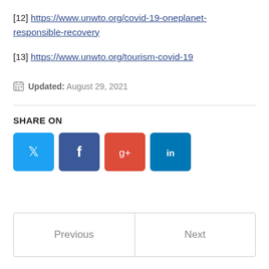[12] https://www.unwto.org/covid-19-oneplanet-responsible-recovery
[13] https://www.unwto.org/tourism-covid-19
Updated: August 29, 2021
[Figure (infographic): Social share buttons: Twitter (blue), Facebook (dark blue), Google+ (red), LinkedIn (blue)]
SHARE ON
Previous | Next navigation buttons